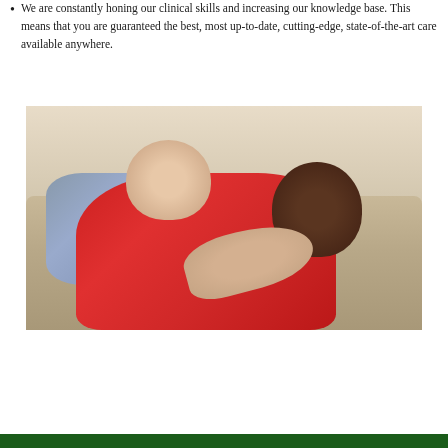We are constantly honing our clinical skills and increasing our knowledge base. This means that you are guaranteed the best, most up-to-date, cutting-edge, state-of-the-art care available anywhere.
[Figure (photo): A smiling couple sitting on a couch. A man with light skin sits behind a pregnant woman with dark skin who is wearing a red dress. Both are smiling and the man's hand is resting on her pregnant belly.]